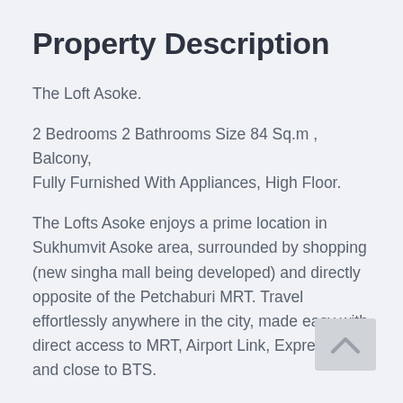Property Description
The Loft Asoke.
2 Bedrooms 2 Bathrooms Size 84 Sq.m , Balcony, Fully Furnished With Appliances, High Floor.
The Lofts Asoke enjoys a prime location in Sukhumvit Asoke area, surrounded by shopping (new singha mall being developed) and directly opposite of the Petchaburi MRT. Travel effortlessly anywhere in the city, made easy with direct access to MRT, Airport Link, Expressway and close to BTS.
FACILITIES : Triple volume ceiling height lobby, Double volume ceiling height residential lounge, work space